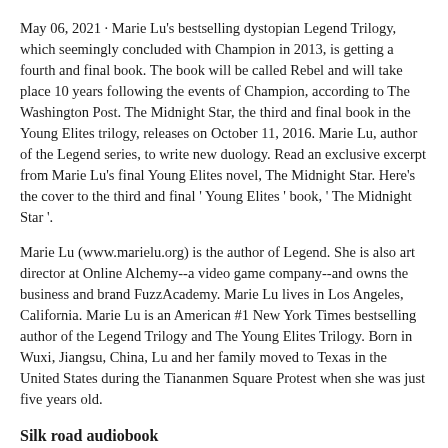May 06, 2021 · Marie Lu's bestselling dystopian Legend Trilogy, which seemingly concluded with Champion in 2013, is getting a fourth and final book. The book will be called Rebel and will take place 10 years following the events of Champion, according to The Washington Post. The Midnight Star, the third and final book in the Young Elites trilogy, releases on October 11, 2016. Marie Lu, author of the Legend series, to write new duology. Read an exclusive excerpt from Marie Lu's final Young Elites novel, The Midnight Star. Here's the cover to the third and final ' Young Elites ' book, ' The Midnight Star '.
Marie Lu (www.marielu.org) is the author of Legend. She is also art director at Online Alchemy--a video game company--and owns the business and brand FuzzAcademy. Marie Lu lives in Los Angeles, California. Marie Lu is an American #1 New York Times bestselling author of the Legend Trilogy and The Young Elites Trilogy. Born in Wuxi, Jiangsu, China, Lu and her family moved to Texas in the United States during the Tiananmen Square Protest when she was just five years old.
Silk road audiobook
Marie Lu is the author of the Legend Series, which consists of Legend, Prodigy, Champion as well as the trilogy's side novel Life